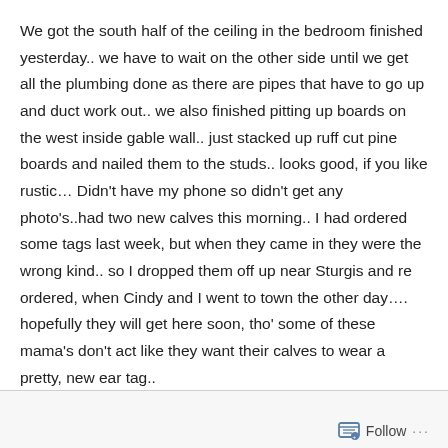We got the south half of the ceiling in the bedroom finished yesterday.. we have to wait on the other side until we get all the plumbing done as there are pipes that have to go up and duct work out.. we also finished pitting up boards on the west inside gable wall.. just stacked up ruff cut pine boards and nailed them to the studs.. looks good, if you like rustic… Didn't have my phone so didn't get any photo's..had two new calves this morning.. I had ordered some tags last week, but when they came in they were the wrong kind.. so I dropped them off up near Sturgis and re ordered, when Cindy and I went to town the other day…. hopefully they will get here soon, tho' some of these mama's don't act like they want their calves to wear a pretty, new ear tag..
Follow ...